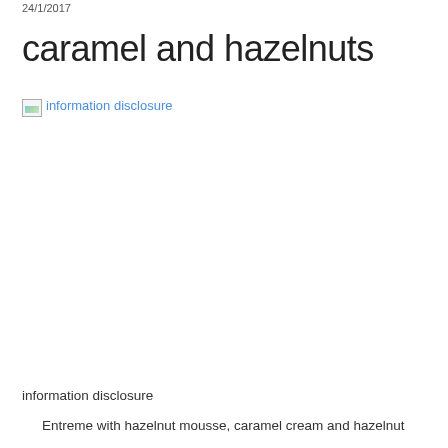24/1/2017
caramel and hazelnuts
[Figure (photo): Broken image placeholder labeled 'information disclosure']
information disclosure
Entreme with hazelnut mousse, caramel cream and hazelnut